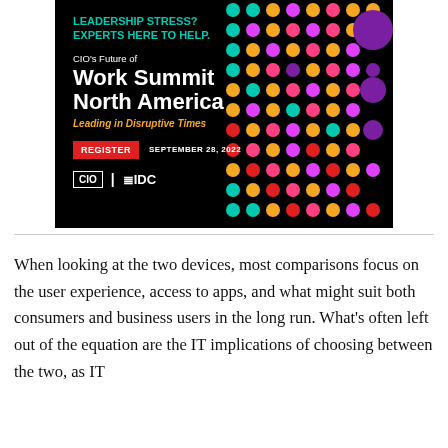[Figure (illustration): CIO's Future of Work Summit North America advertisement banner on black background with colorful dot grid pattern. Text reads: LEADERSHIP STRESS? EXPERTS HERE TO HELP. CIO's Future of Work Summit North America. Leading in Disruptive Times. REGISTER button. SEPTEMBER 28, 2022. CIO and IDC logos.]
When looking at the two devices, most comparisons focus on the user experience, access to apps, and what might suit both consumers and business users in the long run. What's often left out of the equation are the IT implications of choosing between the two, as IT